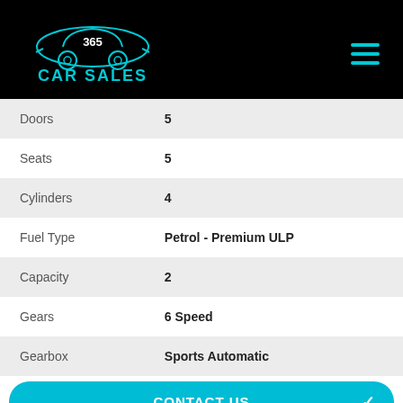[Figure (logo): 365 Car Sales logo with teal car silhouette on black background]
| Attribute | Value |
| --- | --- |
| Doors | 5 |
| Seats | 5 |
| Cylinders | 4 |
| Fuel Type | Petrol - Premium ULP |
| Capacity | 2 |
| Gears | 6 Speed |
| Gearbox | Sports Automatic |
CONTACT US
FINANCE THIS VEHICLE